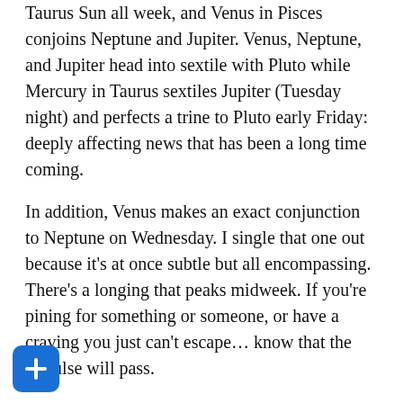Taurus Sun all week, and Venus in Pisces conjoins Neptune and Jupiter. Venus, Neptune, and Jupiter head into sextile with Pluto while Mercury in Taurus sextiles Jupiter (Tuesday night) and perfects a trine to Pluto early Friday: deeply affecting news that has been a long time coming.
In addition, Venus makes an exact conjunction to Neptune on Wednesday. I single that one out because it's at once subtle but all encompassing. There's a longing that peaks midweek. If you're pining for something or someone, or have a craving you just can't escape… know that the impulse will pass.
If it's a good impulse, lean into it while it lasts, otherwise – look for a way to satisfy that pining another way. There's always another way.
As we head into the first eclipse, Venus is important as the ruler of the north node and the full stellium in Taurus. What we wish to attain has power in all corners of this lunation. Our desires and the desires of the collective impact our little wave and the ocean it is a part of.
For most of the week, Mercury in Taurus (Venus-ruled) collects me, love, money, and power as ideas – as sensations – as le-down attitude and nerve rattling insight. In a good way.